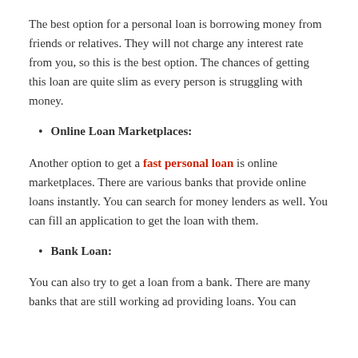The best option for a personal loan is borrowing money from friends or relatives. They will not charge any interest rate from you, so this is the best option. The chances of getting this loan are quite slim as every person is struggling with money.
Online Loan Marketplaces:
Another option to get a fast personal loan is online marketplaces. There are various banks that provide online loans instantly. You can search for money lenders as well. You can fill an application to get the loan with them.
Bank Loan:
You can also try to get a loan from a bank. There are many banks that are still working ad providing loans. You can